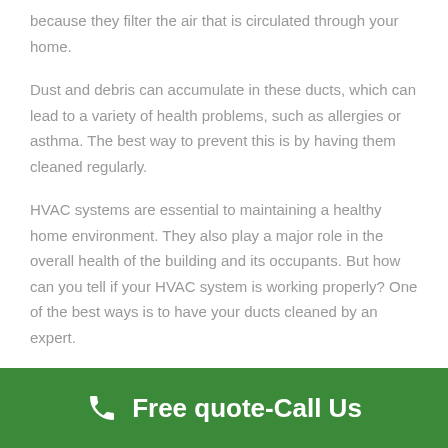because they filter the air that is circulated through your home.
Dust and debris can accumulate in these ducts, which can lead to a variety of health problems, such as allergies or asthma. The best way to prevent this is by having them cleaned regularly.
HVAC systems are essential to maintaining a healthy home environment. They also play a major role in the overall health of the building and its occupants. But how can you tell if your HVAC system is working properly? One of the best ways is to have your ducts cleaned by an expert.
The amount of dust and particles that are in the air ducts
Free quote-Call Us